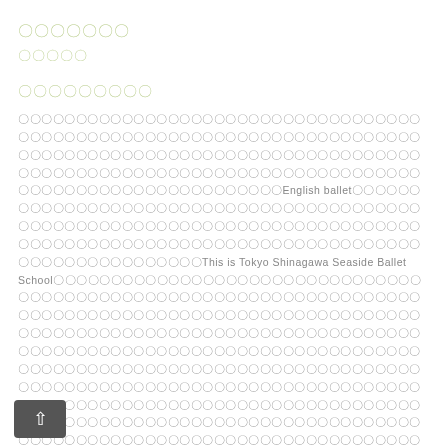〇〇〇〇〇〇〇
〇〇〇〇〇
〇〇〇〇〇〇〇〇〇
〇〇〇〇〇〇〇〇〇〇〇〇〇〇〇〇〇〇〇〇〇〇〇〇〇〇〇〇〇〇〇〇〇〇〇〇〇〇〇〇〇〇〇〇〇〇〇〇〇〇〇〇〇〇〇〇〇〇〇〇〇〇〇〇〇〇〇〇〇〇〇〇〇〇〇〇〇〇〇〇〇〇〇〇〇〇〇〇〇〇〇〇〇〇〇〇〇〇〇〇〇〇〇〇〇〇〇〇〇〇〇〇〇〇〇〇〇〇〇〇〇〇〇〇〇〇〇〇〇〇〇〇〇〇〇〇〇〇〇〇〇〇〇〇〇〇〇〇〇〇〇〇〇〇〇〇〇〇〇〇〇〇〇〇〇English ballet〇〇〇〇〇〇〇〇〇〇〇〇〇〇〇〇〇〇〇〇〇〇〇〇〇〇〇〇〇〇〇〇〇〇〇〇〇〇〇〇〇〇〇〇〇〇〇〇〇〇〇〇〇〇〇〇〇〇〇〇〇〇〇〇〇〇〇〇〇〇〇〇〇〇〇〇〇〇〇〇〇〇〇〇〇〇〇〇〇〇〇〇〇〇〇〇〇〇〇〇〇〇〇〇〇〇〇〇〇〇〇〇〇〇〇〇〇〇〇〇〇〇〇〇〇〇〇This is Tokyo Shinagawa Seaside Ballet School〇〇〇〇〇〇〇〇〇〇〇〇〇〇〇〇〇〇〇〇〇〇〇〇〇〇〇〇〇〇〇〇〇〇〇〇〇〇〇〇〇〇〇〇〇〇〇〇〇〇〇〇〇〇〇〇〇〇〇〇〇〇〇〇〇〇〇〇〇〇〇〇〇〇〇〇〇〇〇〇〇〇〇〇〇〇〇〇〇〇〇〇〇〇〇〇〇〇〇〇〇〇〇〇〇〇〇〇〇〇〇〇〇〇〇〇〇〇〇〇〇〇〇〇〇〇〇〇〇〇〇〇〇〇〇〇〇〇〇〇〇〇〇〇〇〇〇〇〇〇〇〇〇〇〇〇〇〇〇〇〇〇〇〇〇〇〇〇〇〇〇〇〇〇〇〇〇〇〇〇〇〇〇〇〇〇〇〇〇〇〇〇〇〇〇〇〇〇〇〇〇〇〇〇〇〇〇〇〇〇〇〇〇〇〇〇〇〇〇〇〇〇〇〇〇〇〇〇〇〇〇〇〇〇〇〇〇〇〇〇〇〇〇〇〇〇〇〇〇〇〇〇〇〇〇〇〇〇〇〇〇〇〇〇〇〇〇〇〇〇〇〇〇〇〇〇〇〇〇〇〇〇〇〇〇〇〇〇〇〇〇〇〇〇〇〇〇〇〇〇〇〇〇〇〇〇〇〇〇〇〇〇〇〇〇〇〇〇〇〇〇〇〇〇〇〇〇〇〇〇〇〇〇〇〇〇〇〇〇〇〇〇〇〇〇〇〇〇〇〇〇〇〇〇〇〇〇〇〇〇〇〇〇〇〇〇〇〇〇〇〇〇〇〇〇〇〇〇〇〇
Shinagawa Seaside Ballet Studio, a ballet class in the Tokyo, Shinagawa, Shinagawa Seaside, Aomono Yokocho, Tennozu Isle, Higashishinagawa, and Oimachi areas. Kids and junior children's